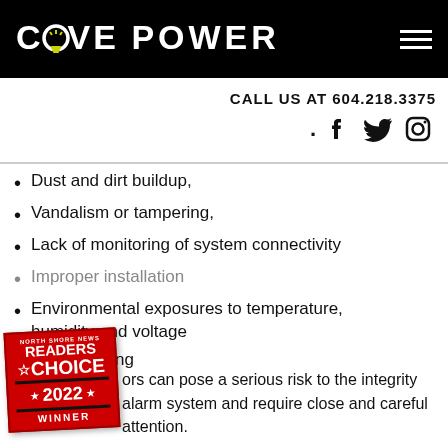COVE POWER
CALL US AT 604.218.3375
Dust and dirt buildup,
Vandalism or tampering,
Lack of monitoring of system connectivity
Improper installation
Environmental exposures to temperature, humidity and voltage
System aging
[Figure (logo): North Shore News Readers Choice 2022 Winner badge in red and black]
ors can pose a serious risk to the integrity alarm system and require close and careful attention.